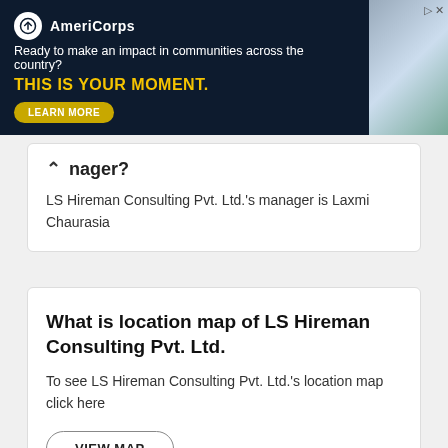[Figure (other): AmeriCorps advertisement banner with dark navy background. Logo with circle icon and 'AmeriCorps' text. Tagline: 'Ready to make an impact in communities across the country?' Headline in yellow: 'THIS IS YOUR MOMENT.' with a 'LEARN MORE' button. Photo of people on the right side.]
nager?
LS Hireman Consulting Pvt. Ltd.'s manager is Laxmi Chaurasia
What is location map of LS Hireman Consulting Pvt. Ltd.
To see LS Hireman Consulting Pvt. Ltd.'s location map click here
VIEW MAP